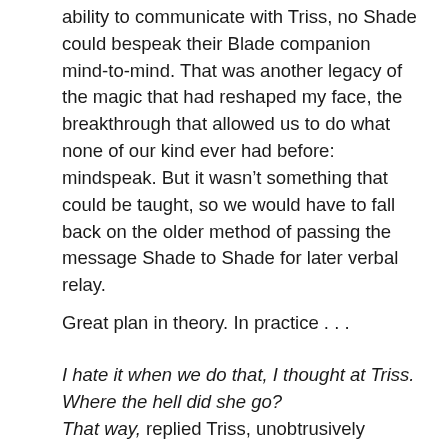ability to communicate with Triss, no Shade could bespeak their Blade companion mind-to-mind. That was another legacy of the magic that had reshaped my face, the breakthrough that allowed us to do what none of our kind ever had before: mindspeak. But it wasn't something that could be taught, so we would have to fall back on the older method of passing the message Shade to Shade for later verbal relay.
Great plan in theory. In practice . . .
I hate it when we do that, I thought at Triss. Where the hell did she go?
That way, replied Triss, unobtrusively nudging my